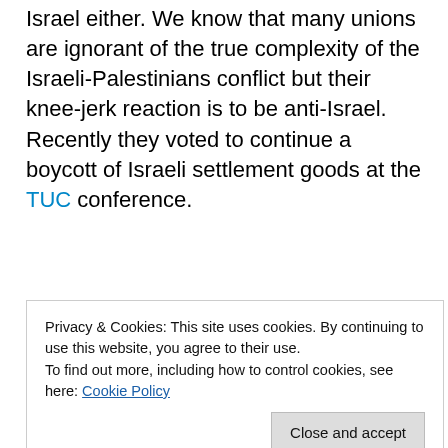Israel either. We know that many unions are ignorant of the true complexity of the Israeli-Palestinians conflict but their knee-jerk reaction is to be anti-Israel. Recently they voted to continue a boycott of Israeli settlement goods at the TUC conference.
[Figure (illustration): Promotional image with purple header bar, green triangle shape on left, blue curved shape on right, and bold text reading 'How to start selling subscriptions online']
Privacy & Cookies: This site uses cookies. By continuing to use this website, you agree to their use.
To find out more, including how to control cookies, see here: Cookie Policy
Close and accept
This characterisation of the settlement and the conflict...